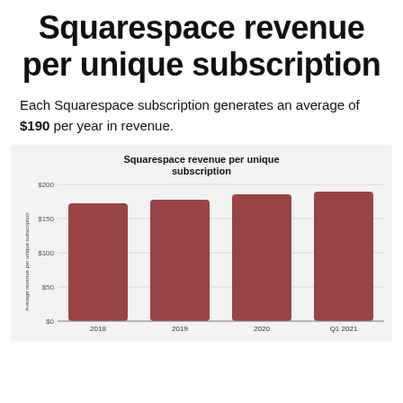Squarespace revenue per unique subscription
Each Squarespace subscription generates an average of $190 per year in revenue.
[Figure (bar-chart): Squarespace revenue per unique subscription]